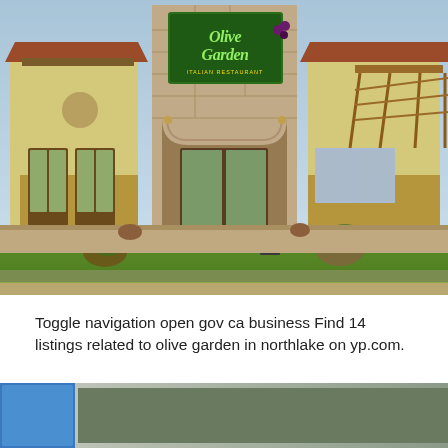[Figure (photo): Exterior photo of an Olive Garden Italian Restaurant building with stone facade, green sign with Olive Garden logo, yellow stucco walls, arched entrance, and landscaped front with lawn and planters.]
Toggle navigation open gov ca business Find 14 listings related to olive garden in northlake on yp.com.
[Figure (photo): Partial view of another image at the bottom of the page, showing blue and green tones.]